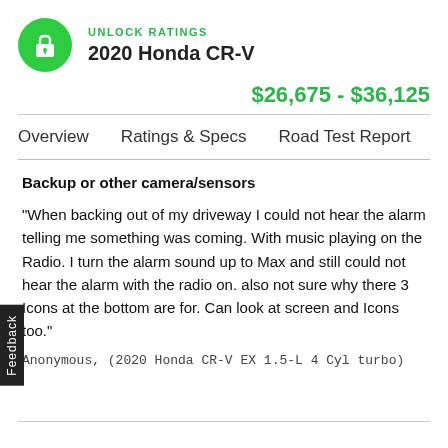[Figure (logo): Green circle with white lock icon]
UNLOCK RATINGS
2020 Honda CR-V
$26,675 - $36,125
Overview   Ratings & Specs   Road Test Report
Backup or other camera/sensors
"When backing out of my driveway I could not hear the alarm telling me something was coming. With music playing on the Radio. I turn the alarm sound up to Max and still could not hear the alarm with the radio on. also not sure why there 3 Icons at the bottom are for. Can look at screen and Icons too."
Anonymous, (2020 Honda CR-V EX 1.5-L 4 Cyl turbo)